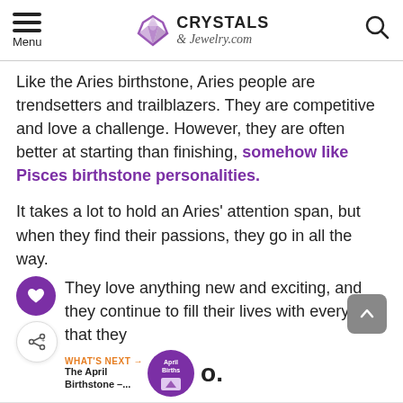Menu | Crystals & Jewelry.com
Like the Aries birthstone, Aries people are trendsetters and trailblazers. They are competitive and love a challenge. However, they are often better at starting than finishing, somehow like Pisces birthstone personalities.
It takes a lot to hold an Aries' attention span, but when they find their passions, they go in all the way.
They love anything new and exciting, and they continue to fill their lives with everything that they
The Aries birthstone signifies fearlessness, initiative,